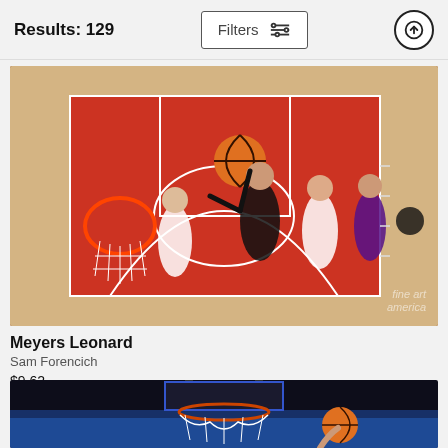Results: 129 | Filters
[Figure (photo): Overhead view of NBA basketball game showing Meyers Leonard of the Portland Trail Blazers going up for a layup surrounded by players, with a basketball hoop and red court visible. Fine Art America watermark in bottom right.]
Meyers Leonard
Sam Forencich
$9.62
[Figure (photo): Partial view of NBA basketball game shot from below/courtside showing a basketball near the hoop with arena crowd in background.]